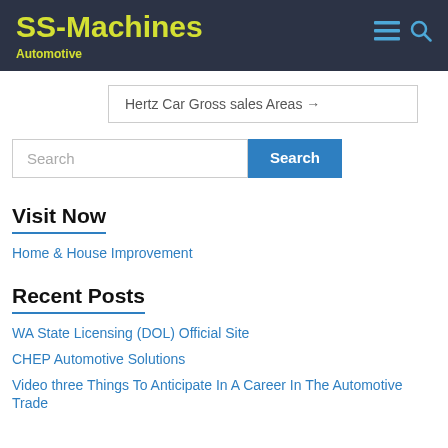SS-Machines
Automotive
Hertz Car Gross sales Areas →
Search [search box] Search [button]
Visit Now
Home & House Improvement
Recent Posts
WA State Licensing (DOL) Official Site
CHEP Automotive Solutions
Video three Things To Anticipate In A Career In The Automotive Trade